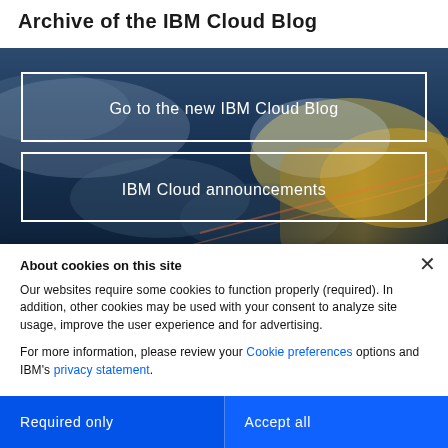Archive of the IBM Cloud Blog
[Figure (photo): Sky background with clouds and two white-bordered button overlays: 'Go to the new IBM Cloud Blog' and 'IBM Cloud announcements']
About cookies on this site
Our websites require some cookies to function properly (required). In addition, other cookies may be used with your consent to analyze site usage, improve the user experience and for advertising.

For more information, please review your Cookie preferences options and IBM's privacy statement.
Required only
Accept all